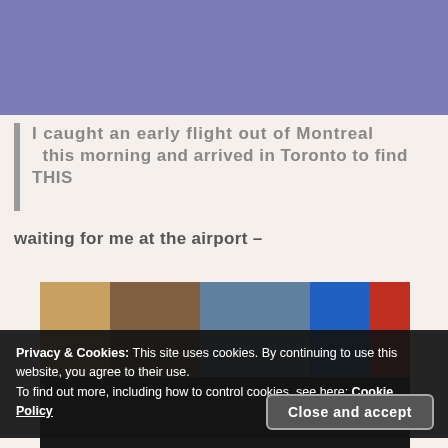[Figure (photo): Purple/mauve colored banner header at the top of a blog page]
I caught an early flight out of Montreal this morning and arrived in Toronto to find THIS waiting for me at the airport –
[Figure (photo): Airport interior photo showing glass doors, kiosks, a blue machine, and people. Bottom portion shows people standing.]
Privacy & Cookies: This site uses cookies. By continuing to use this website, you agree to their use.
To find out more, including how to control cookies, see here: Cookie Policy
Close and accept